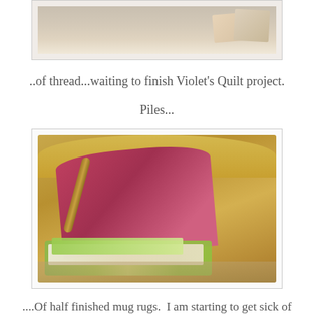[Figure (photo): Top portion of a photo showing thread spools or sewing materials on a surface, with watermark 'buttonandbuttonflies.com']
..of thread...waiting to finish Violet's Quilt project.
Piles...
[Figure (photo): A woven straw tote bag tipped on its side with colorful floral/green fabric mug rugs spilling out onto a wooden floor surface]
....Of half finished mug rugs.  I am starting to get sick of trying to finish these to get them out of the way.
Piles....